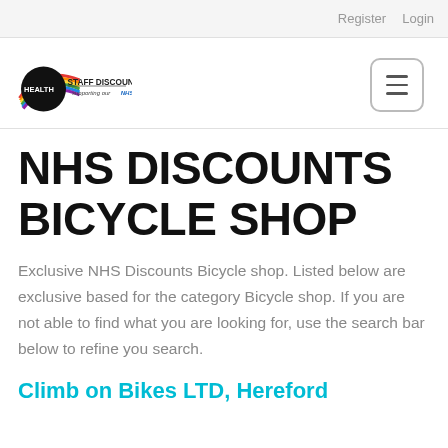Register  Login
[Figure (logo): Health Staff Discounts logo with rainbow arc over black circle, text reads HEALTH STAFF DISCOUNTS supporting our NHS staff]
NHS DISCOUNTS BICYCLE SHOP
Exclusive NHS Discounts Bicycle shop. Listed below are exclusive based for the category Bicycle shop. If you are not able to find what you are looking for, use the search bar below to refine you search.
Climb on Bikes LTD, Hereford